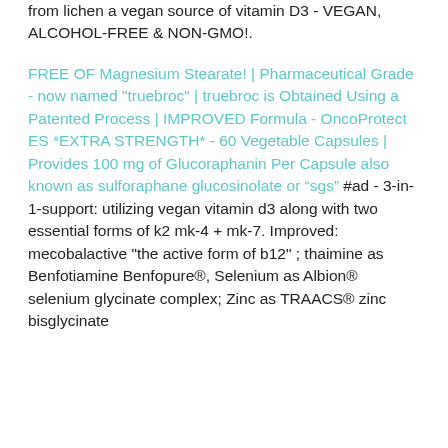from lichen a vegan source of vitamin D3 - VEGAN, ALCOHOL-FREE & NON-GMO!.
FREE OF Magnesium Stearate! | Pharmaceutical Grade - now named "truebroc" | truebroc is Obtained Using a Patented Process | IMPROVED Formula - OncoProtect ES *EXTRA STRENGTH* - 60 Vegetable Capsules | Provides 100 mg of Glucoraphanin Per Capsule also known as sulforaphane glucosinolate or “sgs” #ad - 3-in-1-support: utilizing vegan vitamin d3 along with two essential forms of k2 mk-4 + mk-7. Improved: mecobalactive "the active form of b12" ; thaimine as Benfotiamine Benfopure®, Selenium as Albion® selenium glycinate complex; Zinc as TRAACS® zinc bisglycinate